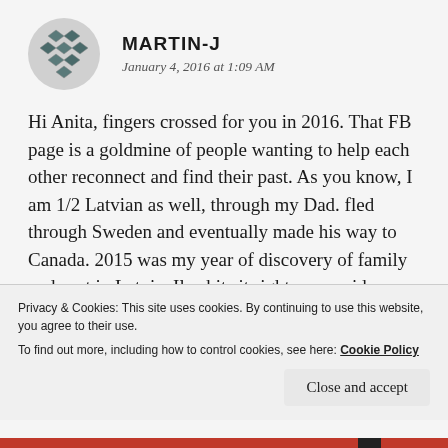[Figure (illustration): Circular avatar icon with a geometric diamond/checkerboard pattern in dark teal/grey colors]
MARTIN-J
January 4, 2016 at 1:09 AM
Hi Anita, fingers crossed for you in 2016. That FB page is a goldmine of people wanting to help each other reconnect and find their past. As you know, I am 1/2 Latvian as well, through my Dad. fled through Sweden and eventually made his way to Canada. 2015 was my year of discovery of family and past in Latvia. Ilze hits it right on, a pride many of us are still discovering. It had been suppressed for so long many of us never understood what our roots really were. Once you start
Privacy & Cookies: This site uses cookies. By continuing to use this website, you agree to their use.
To find out more, including how to control cookies, see here: Cookie Policy
Close and accept